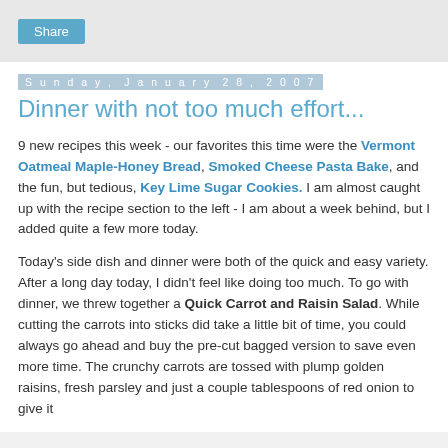Share
Sunday, January 28, 2007
Dinner with not too much effort...
9 new recipes this week - our favorites this time were the Vermont Oatmeal Maple-Honey Bread, Smoked Cheese Pasta Bake, and the fun, but tedious, Key Lime Sugar Cookies. I am almost caught up with the recipe section to the left - I am about a week behind, but I added quite a few more today.
Today's side dish and dinner were both of the quick and easy variety. After a long day today, I didn't feel like doing too much. To go with dinner, we threw together a Quick Carrot and Raisin Salad. While cutting the carrots into sticks did take a little bit of time, you could always go ahead and buy the pre-cut bagged version to save even more time. The crunchy carrots are tossed with plump golden raisins, fresh parsley and just a couple tablespoons of red onion to give it